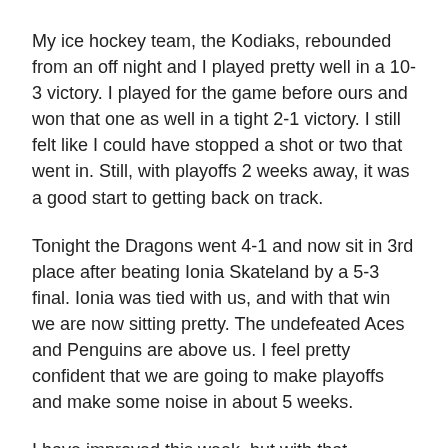My ice hockey team, the Kodiaks, rebounded from an off night and I played pretty well in a 10-3 victory. I played for the game before ours and won that one as well in a tight 2-1 victory. I still felt like I could have stopped a shot or two that went in. Still, with playoffs 2 weeks away, it was a good start to getting back on track.
Tonight the Dragons went 4-1 and now sit in 3rd place after beating Ionia Skateland by a 5-3 final. Ionia was tied with us, and with that win we are now sitting pretty. The undefeated Aces and Penguins are above us. I feel pretty confident that we are going to make playoffs and make some noise in about 5 weeks.
I have improved this week, but with that improvement means I must get better next week. I still think I should have done a little better even though I won all my games. I have to strive to do better.